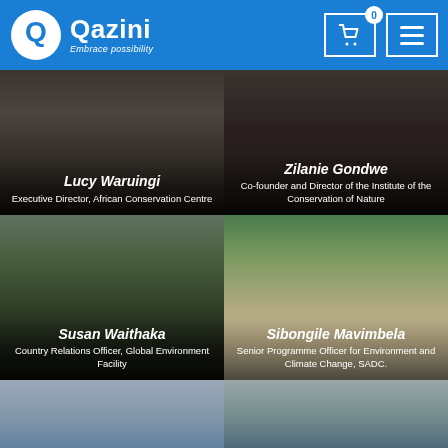Qazini — Embrace possibility
[Figure (photo): Lucy Waruingi profile photo — dark background portrait]
Lucy Waruingi
Executive Director, African Conservation Centre
[Figure (photo): Zilanie Gondwe profile photo — dark background portrait with necklace]
Zilanie Gondwe
Co-founder and Director of the Institute of the Conservation of Nature
[Figure (photo): Susan Waithaka profile photo — outdoors by waterfall]
Susan Waithaka
Country Relations Officer, Global Environment Facility
[Figure (photo): Sibongile Mavimbela profile photo — outdoors with sunglasses]
Sibongile Mavimbela
Senior Programme Officer for Environment and Climate Change, SADC.
[Figure (photo): Partial profile photo bottom left]
[Figure (photo): Partial profile photo bottom right]